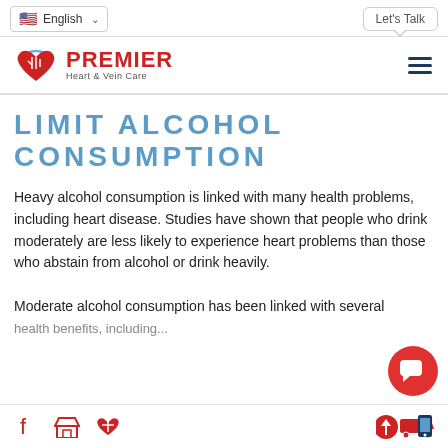English | Let's Talk
[Figure (logo): Premier Heart & Vein Care logo with red heart and blue arc, hamburger menu icon on right]
LIMIT ALCOHOL CONSUMPTION
Heavy alcohol consumption is linked with many health problems, including heart disease. Studies have shown that people who drink moderately are less likely to experience heart problems than those who abstain from alcohol or drink heavily.
Moderate alcohol consumption has been linked with several health benefits, including...
Footer icons: Facebook, Store, Favorites, Delivery/Mobile icons